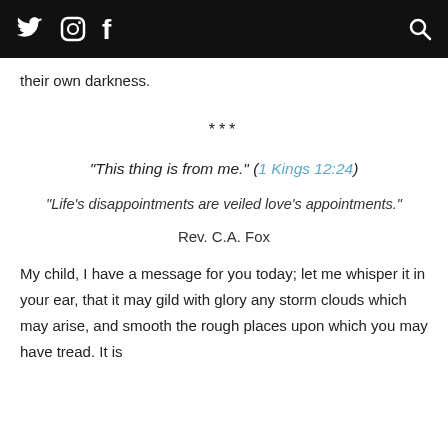Twitter Instagram Facebook [Search]
their own darkness.
***
“This thing is from me.” (1 Kings 12:24)
“Life’s disappointments are veiled love’s appointments.”
Rev. C.A. Fox
My child, I have a message for you today; let me whisper it in your ear, that it may gild with glory any storm clouds which may arise, and smooth the rough places upon which you may have tread. It is